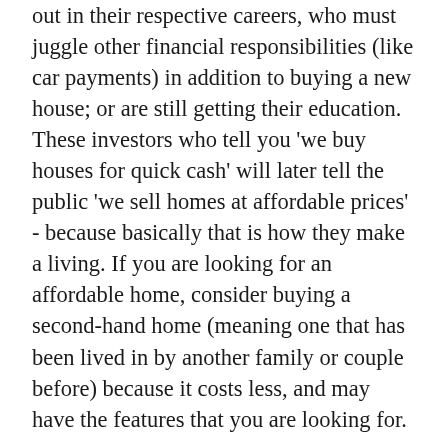out in their respective careers, who must juggle other financial responsibilities (like car payments) in addition to buying a new house; or are still getting their education. These investors who tell you 'we buy houses for quick cash' will later tell the public 'we sell homes at affordable prices' - because basically that is how they make a living. If you are looking for an affordable home, consider buying a second-hand home (meaning one that has been lived in by another family or couple before) because it costs less, and may have the features that you are looking for.
It is always hard finding someone you can trust (in any business actually.) But don't go around thinking that all investors are out to get you. There are still good eggs in the bunch who will grant you a good deal (whether you are buying or selling a piece of property.) So look for investors who will not only tell you 'we buy houses for quick cash' but also follow up that statement with 'and we will treat you